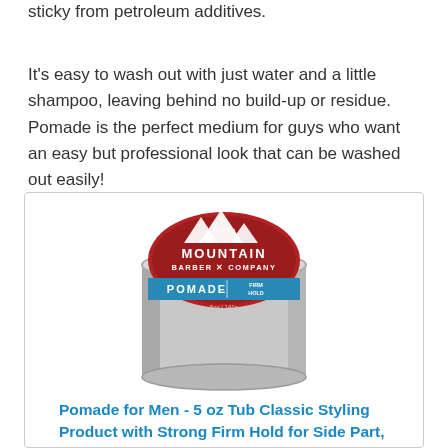sticky from petroleum additives.
It's easy to wash out with just water and a little shampoo, leaving behind no build-up or residue. Pomade is the perfect medium for guys who want an easy but professional look that can be washed out easily!
[Figure (photo): A round tin of Rocky Mountain Barber Company Pomade with Firm Hold, 5oz/141g, featuring a red label with mountain and tree logo and a blue band at the bottom.]
Pomade for Men - 5 oz Tub Classic Styling Product with Strong Firm Hold for Side Part, Pompadour &...